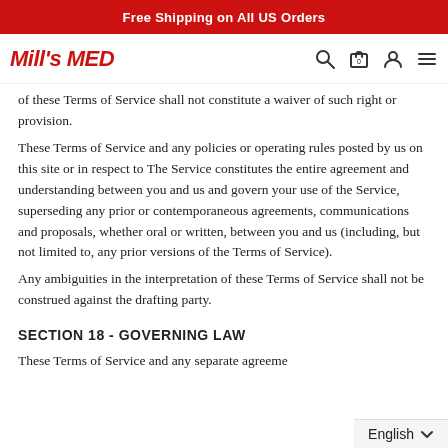Free Shipping on All US Orders
[Figure (logo): Mill's MED logo in red italic bold text with navigation icons (search, cart, account, menu)]
of these Terms of Service shall not constitute a waiver of such right or provision.
These Terms of Service and any policies or operating rules posted by us on this site or in respect to The Service constitutes the entire agreement and understanding between you and us and govern your use of the Service, superseding any prior or contemporaneous agreements, communications and proposals, whether oral or written, between you and us (including, but not limited to, any prior versions of the Terms of Service).
Any ambiguities in the interpretation of these Terms of Service shall not be construed against the drafting party.
SECTION 18 - GOVERNING LAW
These Terms of Service and any separate agreeme